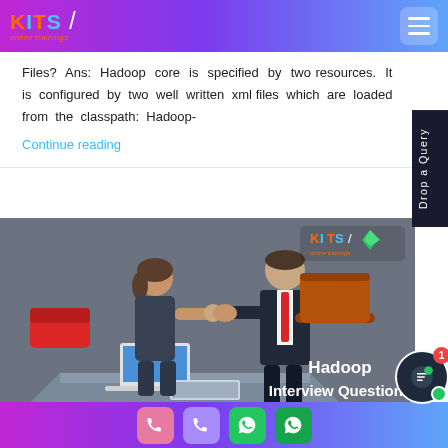KITS online trainings
Files? Ans: Hadoop core is specified by two resources. It is configured by two well written xml files which are loaded from the classpath: Hadoop-
Continue reading
[Figure (illustration): Interview scene illustration showing two people shaking hands across a desk with computers. Text overlay reads 'Hadoop Interview Questions'. KITS online trainings logo in top right corner. Gray background.]
Contact buttons row at bottom